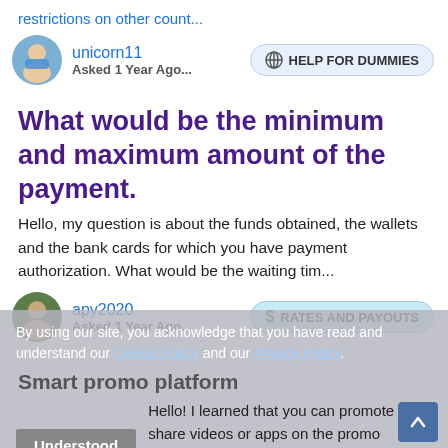restrictions on other count...
unicorn11
Asked 1 Year Ago...
HELP FOR DUMMIES
What would be the minimum and maximum amount of the payment.
Hello, my question is about the funds obtained, the wallets and the bank cards for which you have payment authorization. What would be the waiting tim...
apy2020
Asked 1 Year Ago...
RATES AND PAYOUTS
By using our site, you acknowledge that you have read and understand our Cookie Policy and our Privacy Policy.
Understood
Smart promo platform
Hello! I learned that you can promote and share videos or apps on the promo platform. What amount will be paid for this? I would also like to know wha...